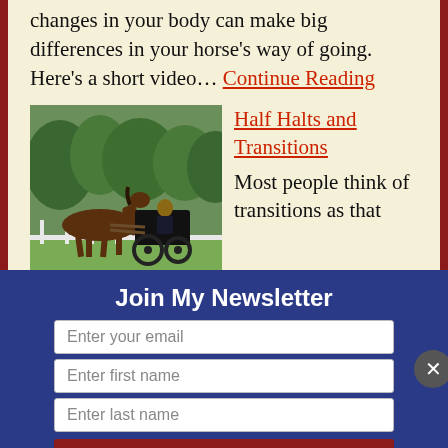changes in your body can make big differences in your horse's way of going. Here's a short video… Continue Reading
[Figure (photo): A horse pulling a carriage with a driver, outdoors on a grassy area with trees in the background and a white fence.]
Half Halts and Transitions
Most people think of transitions as that
Join My Newsletter
Enter your email
Enter first name
Enter last name
Subscribe